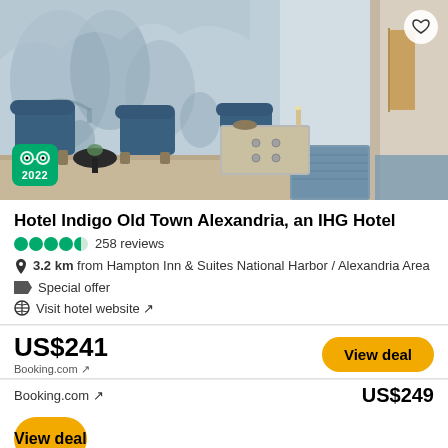[Figure (photo): Hotel lobby interior with blue velvet chairs, mirrored dresser, large scenic mural wallpaper, and a corridor with blue patterned runner rug. TripAdvisor 2022 badge in bottom-left corner. Heart/favorite button in top-right corner.]
Hotel Indigo Old Town Alexandria, an IHG Hotel
258 reviews
3.2 km from Hampton Inn & Suites National Harbor / Alexandria Area
Special offer
Visit hotel website ↗
US$241
Booking.com ↗
Booking.com ↗
US$249
View deal
View deal